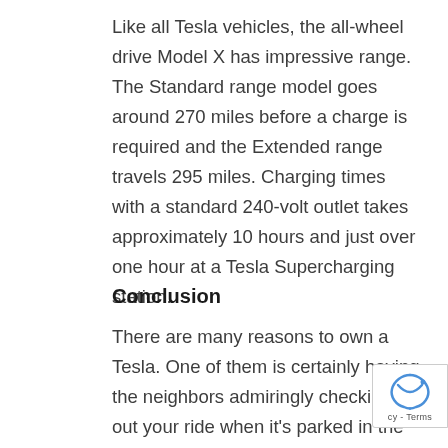Like all Tesla vehicles, the all-wheel drive Model X has impressive range. The Standard range model goes around 270 miles before a charge is required and the Extended range travels 295 miles. Charging times with a standard 240-volt outlet takes approximately 10 hours and just over one hour at a Tesla Supercharging station.
Conclusion
There are many reasons to own a Tesla. One of them is certainly having the neighbors admiringly checking out your ride when it's parked in the driveway. Tesla vehicles are not only technological wonders, they are also